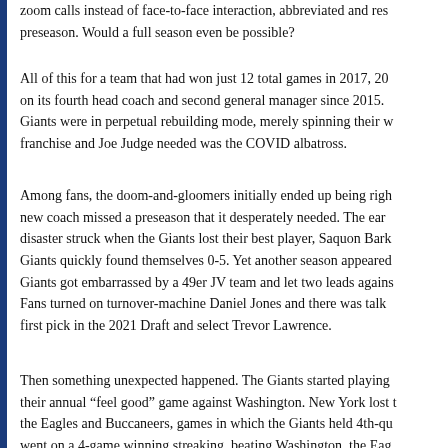zoom calls instead of face-to-face interaction, abbreviated and res preseason. Would a full season even be possible?
All of this for a team that had won just 12 total games in 2017, 20 on its fourth head coach and second general manager since 2015. Giants were in perpetual rebuilding mode, merely spinning their w franchise and Joe Judge needed was the COVID albatross.
Among fans, the doom-and-gloomers initially ended up being righ new coach missed a preseason that it desperately needed. The ear disaster struck when the Giants lost their best player, Saquon Bark Giants quickly found themselves 0-5. Yet another season appeared Giants got embarrassed by a 49er JV team and let two leads agains Fans turned on turnover-machine Daniel Jones and there was talk first pick in the 2021 Draft and select Trevor Lawrence.
Then something unexpected happened. The Giants started playing their annual “feel good” game against Washington. New York lost t the Eagles and Buccaneers, games in which the Giants held 4th-qu went on a 4-game winning streaking, beating Washington, the Eag